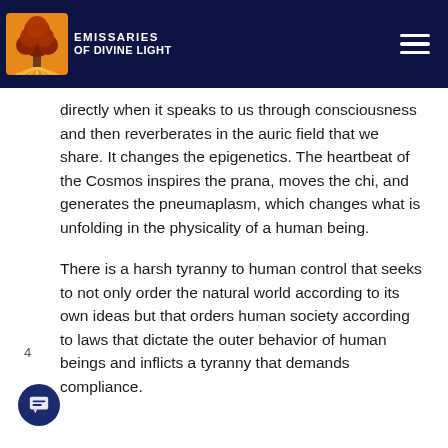Emissaries of Divine Light
directly when it speaks to us through consciousness and then reverberates in the auric field that we share. It changes the epigenetics. The heartbeat of the Cosmos inspires the prana, moves the chi, and generates the pneumaplasm, which changes what is unfolding in the physicality of a human being.
There is a harsh tyranny to human control that seeks to not only order the natural world according to its own ideas but that orders human society according to laws that dictate the outer behavior of human beings and inflicts a tyranny that demands compliance.
4